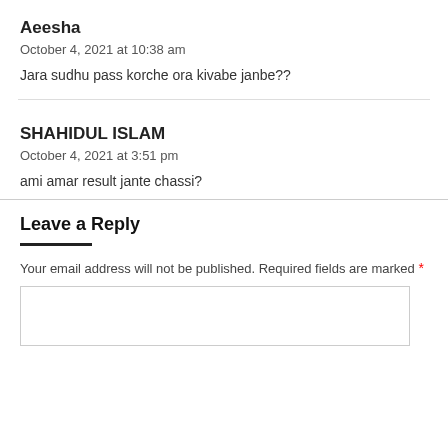Aeesha
October 4, 2021 at 10:38 am
Jara sudhu pass korche ora kivabe janbe??
SHAHIDUL ISLAM
October 4, 2021 at 3:51 pm
ami amar result jante chassi?
Leave a Reply
Your email address will not be published. Required fields are marked *